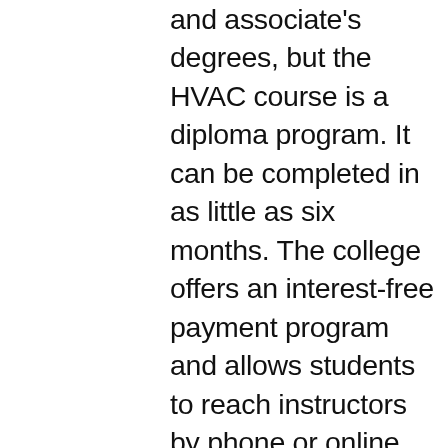and associate's degrees, but the HVAC course is a diploma program. It can be completed in as little as six months. The college offers an interest-free payment program and allows students to reach instructors by phone or online chat when needed. The course builds foundational HVAC skills including teaching how to build refrigeration and electrical systems, system design and installation, and residential and light commercial HVACR systems. All students have access to the college's careers service, which can help you get apprenticeships or entry-level positions upon graduation, and prepares you for EPA refrigeration certification. It also includes a voucher